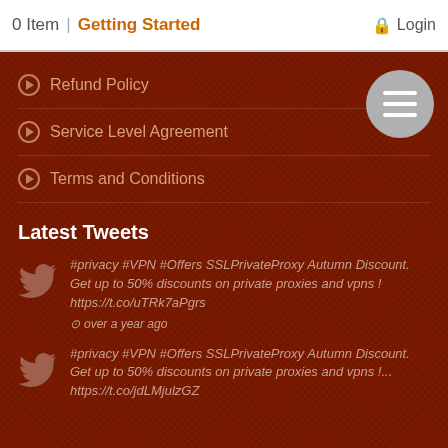0 Item | Getting Started   Login
Refund Policy
Service Level Agreement
Terms and Conditions
Latest Tweets
#privacy #VPN #Offers SSLPrivateProxy Autumn Discount. Get up to 50% discounts on private proxies and vpns ! https://t.co/uTRk7aPgrs over a year ago
#privacy #VPN #Offers SSLPrivateProxy Autumn Discount. Get up to 50% discounts on private proxies and vpns !... https://t.co/jdLMjulzGZ